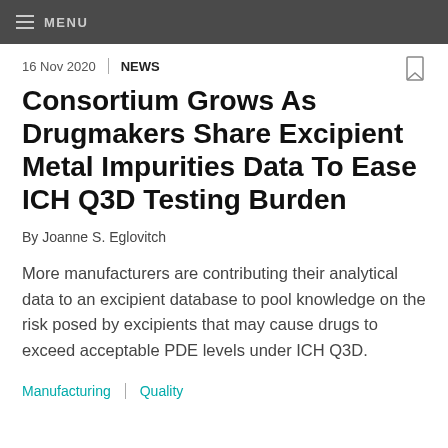MENU
16 Nov 2020 | NEWS
Consortium Grows As Drugmakers Share Excipient Metal Impurities Data To Ease ICH Q3D Testing Burden
By Joanne S. Eglovitch
More manufacturers are contributing their analytical data to an excipient database to pool knowledge on the risk posed by excipients that may cause drugs to exceed acceptable PDE levels under ICH Q3D.
Manufacturing | Quality